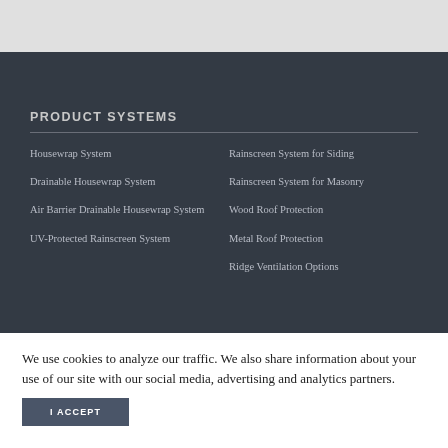PRODUCT SYSTEMS
Housewrap System
Drainable Housewrap System
Air Barrier Drainable Housewrap System
UV-Protected Rainscreen System
Rainscreen System for Siding
Rainscreen System for Masonry
Wood Roof Protection
Metal Roof Protection
Ridge Ventilation Options
PRODUCTS
We use cookies to analyze our traffic. We also share information about your use of our site with our social media, advertising and analytics partners.
I ACCEPT